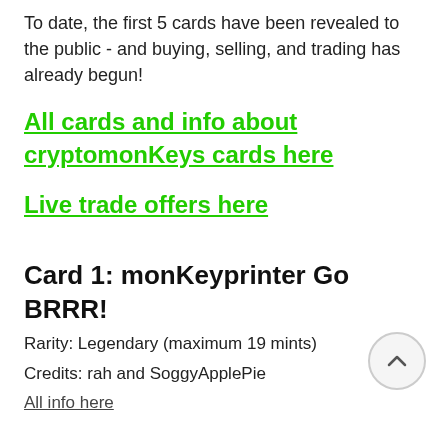To date, the first 5 cards have been revealed to the public - and buying, selling, and trading has already begun!
All cards and info about cryptomonKeys cards here
Live trade offers here
Card 1: monKeyprinter Go BRRR!
Rarity: Legendary (maximum 19 mints)
Credits: rah and SoggyApplePie
All info here